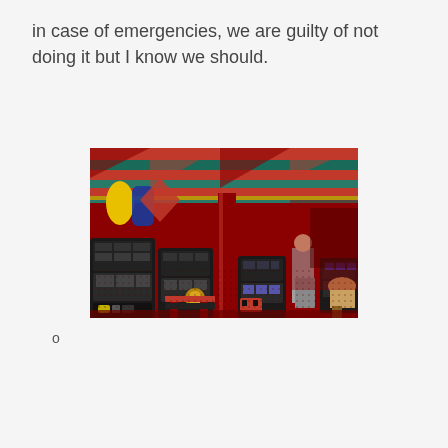in case of emergencies, we are guilty of not doing it but I know we should.
[Figure (photo): Interior of a casino with slot machines lined up in rows, colorful red and green striped ceiling decor, red carpet with geometric pattern, wooden pillars, and people playing at machines in the background.]
o